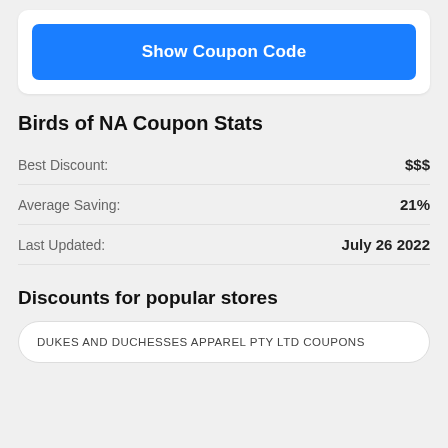[Figure (screenshot): Blue 'Show Coupon Code' button inside a white card]
Birds of NA Coupon Stats
|  |  |
| --- | --- |
| Best Discount: | $$$ |
| Average Saving: | 21% |
| Last Updated: | July 26 2022 |
Discounts for popular stores
DUKES AND DUCHESSES APPAREL PTY LTD COUPONS